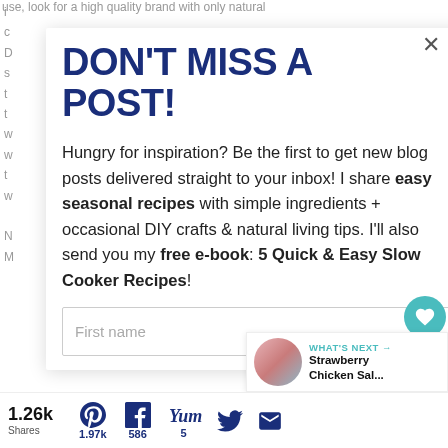use, look for a high quality brand with only natural i ... c ... D ... s t t w w t w
DON'T MISS A POST!
Hungry for inspiration? Be the first to get new blog posts delivered straight to your inbox! I share easy seasonal recipes with simple ingredients + occasional DIY crafts & natural living tips. I'll also send you my free e-book: 5 Quick & Easy Slow Cooker Recipes!
First name
1.26k Shares
1.97k
586
5
WHAT'S NEXT → Strawberry Chicken Sal...